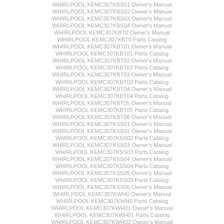WHIRLPOOL KEMC307KBS01 Owner's Manual
WHIRLPOOL KEMC307KBS02 Owner's Manual
WHIRLPOOL KEMC307KBS03 Owner's Manual
WHIRLPOOL KEMC307KBS04 Owner's Manual
WHIRLPOOL KEMC307KBT0 Owner's Manual
WHIRLPOOL KEMC307KBT0 Parts Catalog
WHIRLPOOL KEMC307KBT01 Owner's Manual
WHIRLPOOL KEMC307KBT01 Parts Catalog
WHIRLPOOL KEMC307KBT02 Owner's Manual
WHIRLPOOL KEMC307KBT02 Parts Catalog
WHIRLPOOL KEMC307KBT03 Owner's Manual
WHIRLPOOL KEMC307KBT03 Parts Catalog
WHIRLPOOL KEMC307KBT04 Owner's Manual
WHIRLPOOL KEMC307KBT04 Parts Catalog
WHIRLPOOL KEMC307KBT05 Owner's Manual
WHIRLPOOL KEMC307KBT05 Parts Catalog
WHIRLPOOL KEMC307KBT06 Owner's Manual
WHIRLPOOL KEMC307KSS01 Owner's Manual
WHIRLPOOL KEMC307KSS02 Owner's Manual
WHIRLPOOL KEMC307KSS02 Parts Catalog
WHIRLPOOL KEMC307KSS03 Owner's Manual
WHIRLPOOL KEMC307KSS03 Parts Catalog
WHIRLPOOL KEMC307KSS04 Owner's Manual
WHIRLPOOL KEMC307KSS04 Parts Catalog
WHIRLPOOL KEMC307KSS05 Owner's Manual
WHIRLPOOL KEMC307KSS05 Parts Catalog
WHIRLPOOL KEMC307KSS06 Owner's Manual
WHIRLPOOL KEMC307KWH0 Owner's Manual
WHIRLPOOL KEMC307KWH0 Parts Catalog
WHIRLPOOL KEMC307KWH01 Owner's Manual
WHIRLPOOL KEMC307KWH01 Parts Catalog
WHIRLPOOL KEMC307KWH02 Owner's Manual
WHIRLPOOL KEMC307KWH02 Parts Catalog
WHIRLPOOL KEMC307KWH03 Owner's Manual
WHIRLPOOL KEMC307KWH03 Parts Catalog
WHIRLPOOL KEMC307KWH04 Owner's Manual
WHIRLPOOL KEMC307KWH04 Parts Catalog
WHIRLPOOL KEMC307KWH05 Owner's Manual